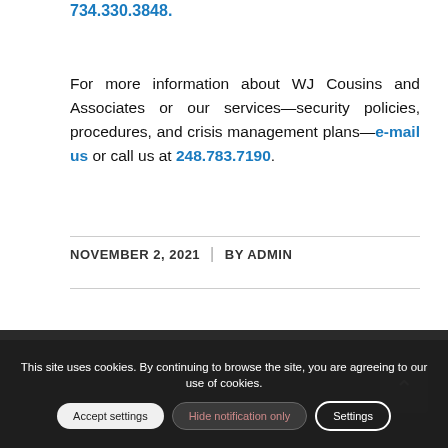734.330.3848.
For more information about WJ Cousins and Associates or our services—security policies, procedures, and crisis management plans—e-mail us or call us at 248.783.7190.
NOVEMBER 2, 2021  |  BY ADMIN
NEWS
WHAT IS LOOPING AND WHY IT MATTERS
This site uses cookies. By continuing to browse the site, you are agreeing to our use of cookies.